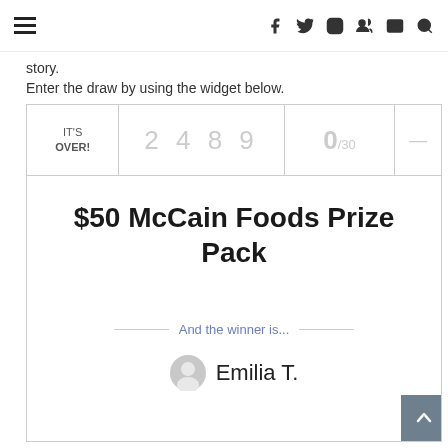Navigation bar with hamburger menu and social icons (f, twitter, instagram, pinterest, mail, search)
story.
Enter the draw by using the widget below.
[Figure (other): Giveaway widget showing IT'S OVER! with 2489 entries and 0/30 days remaining, prize title '$50 McCain Foods Prize Pack', winner announcement 'And the winner is...' with avatar and name 'Emilia T.']